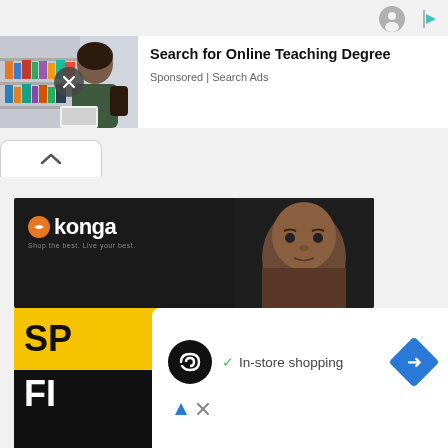[Figure (screenshot): Top area with ad icons (person icon and play/ad icon) in top right corner]
[Figure (photo): Advertisement banner image showing a woman with laptop in front of bookshelves]
Search for Online Teaching Degree
Sponsored | Search Ads
[Figure (screenshot): Tab row with up-arrow chevron button on left, indicating collapsed/expanded state]
[Figure (screenshot): Konga e-commerce banner showing the konga logo and a man's face on dark background]
[Figure (screenshot): Sale banner with SP and FI text in yellow and white on black/yellow background]
[Figure (screenshot): White card overlay with Konga loopy icon, checkmark, In-store shopping text, navigation arrow, and ad icons]